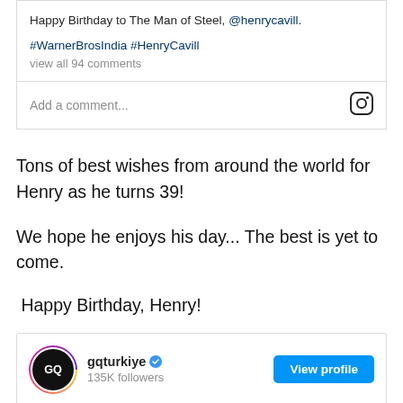Happy Birthday to The Man of Steel, @henrycavill.
#WarnerBrosIndia #HenryCavill
view all 94 comments
Add a comment...
Tons of best wishes from around the world for Henry as he turns 39!
We hope he enjoys his day... The best is yet to come.
Happy Birthday, Henry!
gqturkiye • 135K followers
[Figure (screenshot): Instagram profile section showing gqturkiye with 135K followers and a View profile button, followed by a dark image thumbnail]